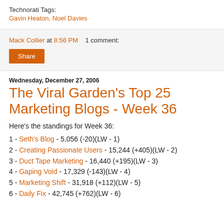Technorati Tags:
Gavin Heaton, Noel Davies
Mack Collier at 8:56 PM   1 comment:
Share
Wednesday, December 27, 2006
The Viral Garden's Top 25 Marketing Blogs - Week 36
Here's the standings for Week 36:
1 - Seth's Blog - 5,056 (-20)(LW - 1)
2 - Creating Passionate Users - 15,244 (+405)(LW - 2)
3 - Duct Tape Marketing - 16,440 (+195)(LW - 3)
4 - Gaping Void - 17,329 (-143)(LW - 4)
5 - Marketing Shift - 31,918 (+112)(LW - 5)
6 - Daily Fix - 42,745 (+762)(LW - 6)